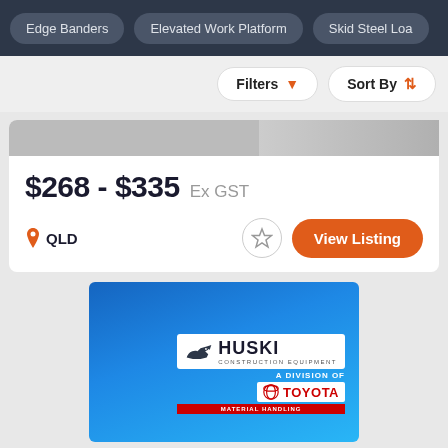Edge Banders | Elevated Work Platform | Skid Steel Loa...
Filters | Sort By
$268 - $335 Ex GST
QLD
View Listing
[Figure (logo): Huski Construction Equipment - A Division of Toyota Material Handling advertisement banner with blue gradient background]